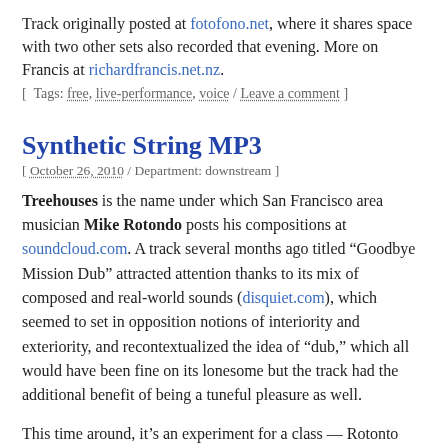Track originally posted at fotofono.net, where it shares space with two other sets also recorded that evening. More on Francis at richardfrancis.net.nz.
[ Tags: free, live-performance, voice / Leave a comment ]
Synthetic String MP3
[ October 26, 2010 / Department: downstream ]
Treehouses is the name under which San Francisco area musician Mike Rotondo posts his compositions at soundcloud.com. A track several months ago titled “Goodbye Mission Dub” attracted attention thanks to its mix of composed and real-world sounds (disquiet.com), which seemed to set in opposition notions of interiority and exteriority, and recontextualized the idea of “dub,” which all would have been fine on its lonesome but the track had the additional benefit of being a tuneful pleasure as well.
This time around, it’s an experiment for a class — Rotonto recently started in the CCRMA program (“Center for Computer Research in Music and Acoustics,” which such luminaries as John Chowning and